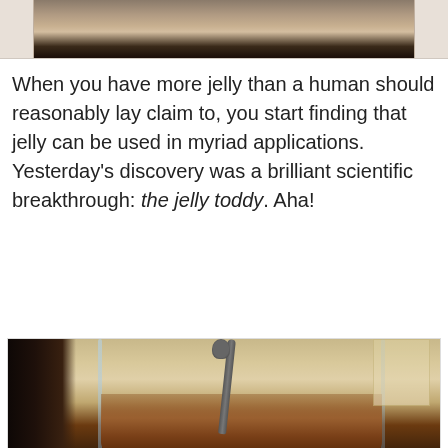[Figure (photo): Partial top photo showing the bottom portion of a glass jar with jelly on a surface]
When you have more jelly than a human should reasonably lay claim to, you start finding that jelly can be used in myriad applications. Yesterday's discovery was a brilliant scientific breakthrough: the jelly toddy. Aha!
[Figure (photo): Photo of a glass tumbler containing a dark amber jelly toddy drink with a spoon in it, placed on a dark wooden surface with a window in the background providing warm backlight]